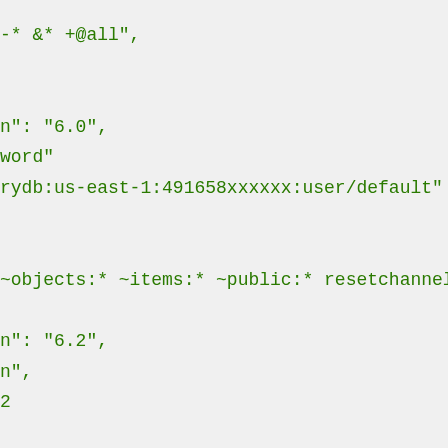-* &* +@all",

n": "6.0",
word"
rydb:us-east-1:491658xxxxxx:user/default"

~objects:* ~items:* ~public:* resetchannels -@al

n": "6.2",
n",
2